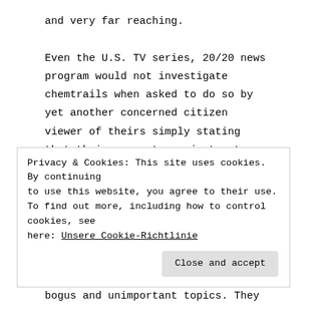and very far reaching.

Even the U.S. TV series, 20/20 news program would not investigate chemtrails when asked to do so by yet another concerned citizen viewer of theirs simply stating that their request was just not selected as a topic they would be covering… REALLY? Instead 20/20 preferred to cover such BS stories
Privacy & Cookies: This site uses cookies. By continuing to use this website, you agree to their use.
To find out more, including how to control cookies, see here: Unsere Cookie-Richtlinie

Close and accept
bogus and unimportant topics. They